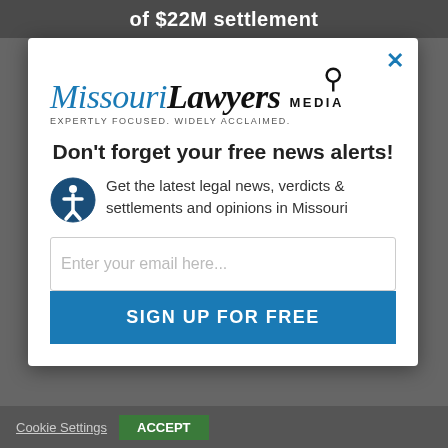of $22M settlement
[Figure (logo): Missouri Lawyers Media logo with tagline: EXPERTLY FOCUSED. WIDELY ACCLAIMED.]
Don't forget your free news alerts!
Get the latest legal news, verdicts & settlements and opinions in Missouri
Enter your email here...
SIGN UP FOR FREE
Cookie Settings   ACCEPT